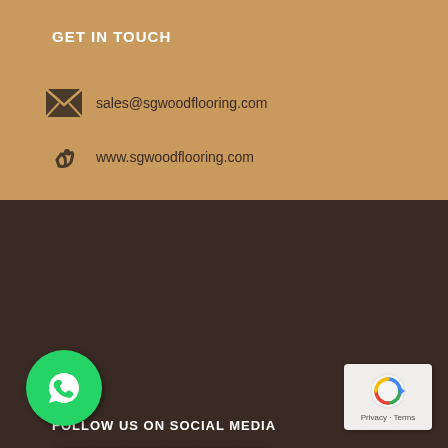GET IN TOUCH
sales@sgwoodflooring.com
www.sgwoodflooring.com
FOLLOW US ON SOCIAL MEDIA
[Figure (logo): Facebook logo with 'Find us on Facebook' text on a wood-textured card]
[Figure (logo): WhatsApp green circle button]
[Figure (logo): Google reCAPTCHA badge showing Privacy and Terms]